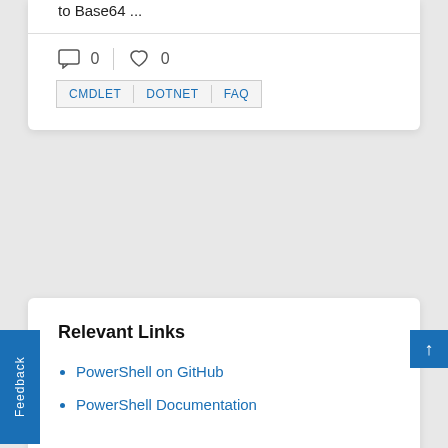to Base64 ...
0  0
CMDLET  DOTNET  FAQ
Relevant Links
PowerShell on GitHub
PowerShell Documentation